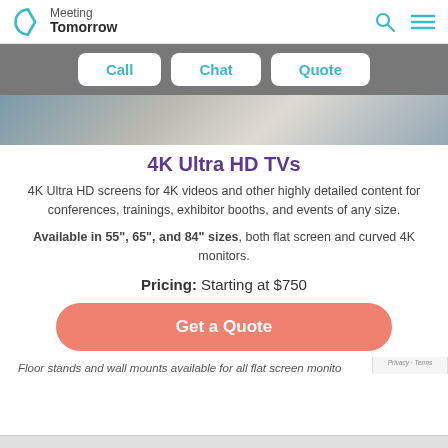Meeting Tomorrow
Call | Chat | Quote
[Figure (photo): Partial photo of a conference/event setup, showing a table with papers in a meeting room]
4K Ultra HD TVs
4K Ultra HD screens for 4K videos and other highly detailed content for conferences, trainings, exhibitor booths, and events of any size.
Available in 55", 65", and 84" sizes, both flat screen and curved 4K monitors.
Pricing: Starting at $750
Get a Quote
Floor stands and wall mounts available for all flat screen monito...